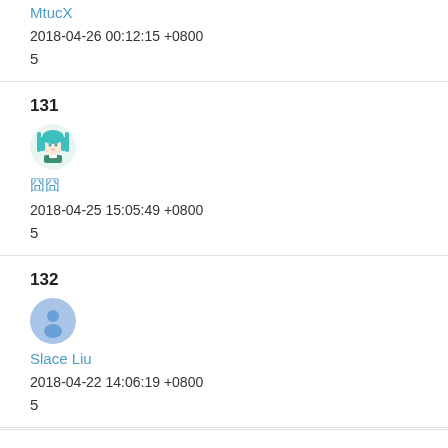MtucX
2018-04-26 00:12:15 +0800
5
131
[Figure (photo): Hatsune Miku anime avatar]
囧囧
2018-04-25 15:05:49 +0800
5
132
[Figure (illustration): Generic blue user avatar with person silhouette]
Slace Liu
2018-04-22 14:06:19 +0800
5